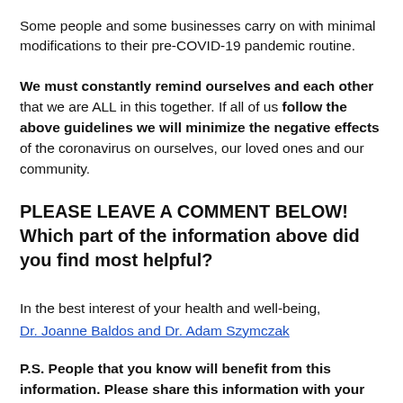Some people and some businesses carry on with minimal modifications to their pre-COVID-19 pandemic routine.
We must constantly remind ourselves and each other that we are ALL in this together. If all of us follow the above guidelines we will minimize the negative effects of the coronavirus on ourselves, our loved ones and our community.
PLEASE LEAVE A COMMENT BELOW! Which part of the information above did you find most helpful?
In the best interest of your health and well-being,
Dr. Joanne Baldos and Dr. Adam Szymczak
P.S. People that you know will benefit from this information. Please share this information with your family, friends, and colleagues. (the best way to share is to email people with the link to this page OR clicking the social sharing